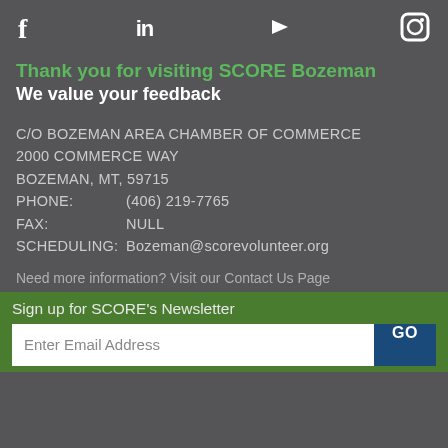[Figure (infographic): Social media icons row: Facebook (f), LinkedIn (in), YouTube (play button), Instagram (camera icon)]
Thank you for visiting SCORE Bozeman
We value your feedback
C/O BOZEMAN AREA CHAMBER OF COMMERCE
2000 COMMERCE WAY
BOZEMAN, MT, 59715
PHONE:   (406) 219-7765
FAX:      NULL
SCHEDULING:  Bozeman@scorevolunteer.org
Need more information? Visit our Contact Us Page
Sign up for SCORE's Newsletter
Enter Email Address